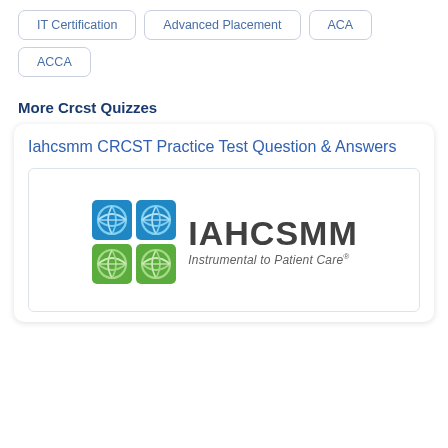IT Certification
Advanced Placement
ACA
ACCA
More Crcst Quizzes
Iahcsmm CRCST Practice Test Question & Answers
[Figure (logo): IAHCSMM logo with globe icons and tagline 'Instrumental to Patient Care']